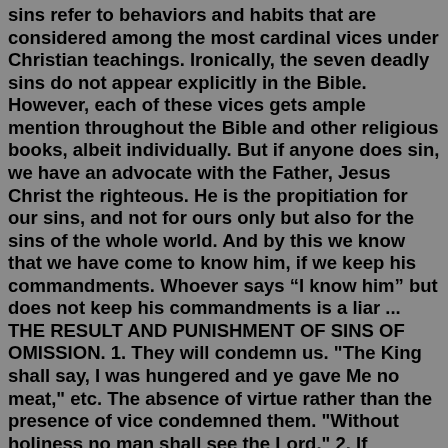sins refer to behaviors and habits that are considered among the most cardinal vices under Christian teachings. Ironically, the seven deadly sins do not appear explicitly in the Bible. However, each of these vices gets ample mention throughout the Bible and other religious books, albeit individually. But if anyone does sin, we have an advocate with the Father, Jesus Christ the righteous. He is the propitiation for our sins, and not for ours only but also for the sins of the whole world. And by this we know that we have come to know him, if we keep his commandments. Whoever says “I know him” but does not keep his commandments is a liar ... THE RESULT AND PUNISHMENT OF SINS OF OMISSION. 1. They will condemn us. "The King shall say, I was hungered and ye gave Me no meat," etc. The absence of virtue rather than the presence of vice condemned them. "Without holiness no man shall see the Lord." 2. If persevered in, they will effectually shut against us the possibilities of pardon. Sin can be both intentional (sins of commission) and unintentional (sins of